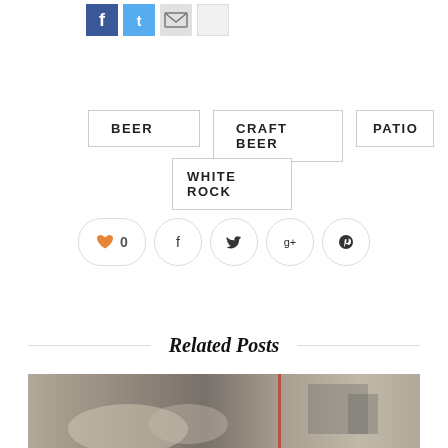[Figure (other): Social media share icons row: Facebook (blue), Twitter (cyan), Email (grey envelope), and a blank/print icon]
BEER
CRAFT BEER
PATIO
WHITE ROCK
[Figure (other): Like/share buttons row: heart like button showing 0, Facebook share, Twitter share, Google+ share, Pinterest share]
Related Posts
[Figure (photo): Photo of beer cans/brewery interior, industrial setting with cans and equipment visible]